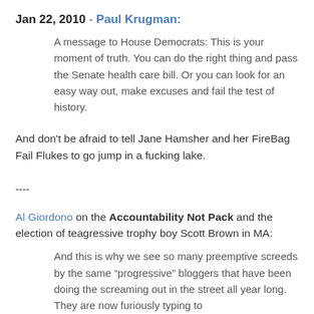Jan 22, 2010 - Paul Krugman:
A message to House Democrats: This is your moment of truth. You can do the right thing and pass the Senate health care bill. Or you can look for an easy way out, make excuses and fail the test of history.
And don't be afraid to tell Jane Hamsher and her FireBag Fail Flukes to go jump in a fucking lake.
----
Al Giordono on the Accountability Not Pack and the election of teagressive trophy boy Scott Brown in MA:
And this is why we see so many preemptive screeds by the same “progressive” bloggers that have been doing the screaming out in the street all year long. They are now furiously typing to